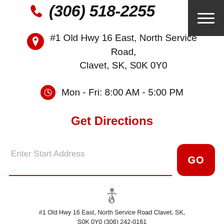(306) 518-2255
#1 Old Hwy 16 East, North Service Road, Clavet, SK, S0K 0Y0
Mon - Fri: 8:00 AM - 5:00 PM
Get Directions
Enter Start Address
[Figure (infographic): Social media icons row: Facebook, Google, Yelp, YouTube, Instagram, and accessibility icon]
#1 Old Hwy 16 East, North Service Road Clavet, SK, S0K 0Y0 (306) 242-0161
Privacy Policy | Image Credits | Website by KUKUI